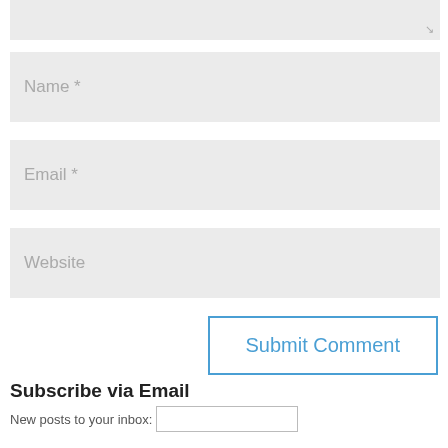[Figure (screenshot): Top of a comment form showing a partially visible text area with a resize handle in the bottom right corner]
Name *
Email *
Website
Submit Comment
Subscribe via Email
New posts to your inbox: